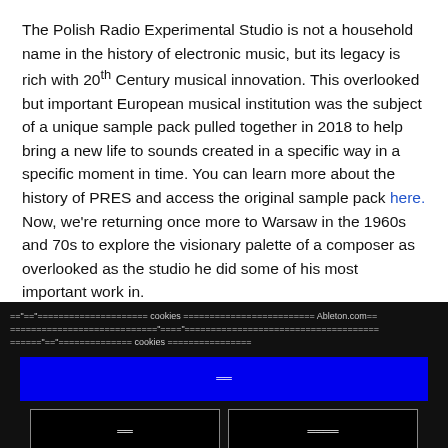The Polish Radio Experimental Studio is not a household name in the history of electronic music, but its legacy is rich with 20th Century musical innovation. This overlooked but important European musical institution was the subject of a unique sample pack pulled together in 2018 to help bring a new life to sounds created in a specific way in a specific moment in time. You can learn more about the history of PRES and access the original sample pack here. Now, we're returning once more to Warsaw in the 1960s and 70s to explore the visionary palette of a composer as overlooked as the studio he did some of his most important work in.
Cookie notice text (garbled/encoded characters) cookies ... Ableton.com ... cookies ...
Accept (encoded)
Reject (encoded)
Settings (encoded)